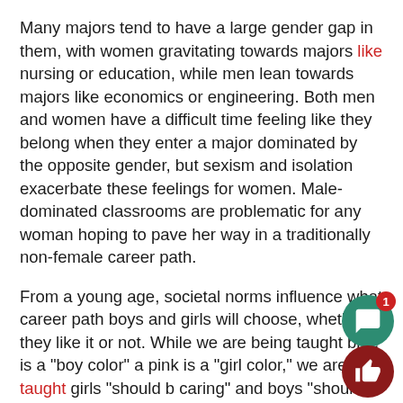Many majors tend to have a large gender gap in them, with women gravitating towards majors like nursing or education, while men lean towards majors like economics or engineering. Both men and women have a difficult time feeling like they belong when they enter a major dominated by the opposite gender, but sexism and isolation exacerbate these feelings for women. Male-dominated classrooms are problematic for any woman hoping to pave her way in a traditionally non-female career path.
From a young age, societal norms influence what career path boys and girls will choose, whether they like it or not. While we are being taught blue is a "boy color" and pink is a "girl color," we are also taught girls "should be caring" and boys "should be tough"--something that stays with us.